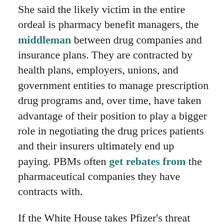She said the likely victim in the entire ordeal is pharmacy benefit managers, the middleman between drug companies and insurance plans. They are contracted by health plans, employers, unions, and government entities to manage prescription drug programs and, over time, have taken advantage of their position to play a bigger role in negotiating the drug prices patients and their insurers ultimately end up paying. PBMs often get rebates from the pharmaceutical companies they have contracts with.
If the White House takes Pfizer's threat seriously, it could pressure HHS into issuing new regulations that reform PBM rebates or even ban them altogether.
Many of the parts of the blueprint would require